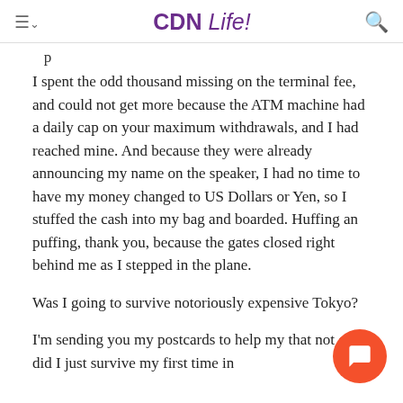CDN Life!
I spent the odd thousand missing on the terminal fee, and could not get more because the ATM machine had a daily cap on your maximum withdrawals, and I had reached mine. And because they were already announcing my name on the speaker, I had no time to have my money changed to US Dollars or Yen, so I stuffed the cash into my bag and boarded. Huffing an puffing, thank you, because the gates closed right behind me as I stepped in the plane.
Was I going to survive notoriously expensive Tokyo?
I'm sending you my postcards to help my that not only did I just survive my first time in